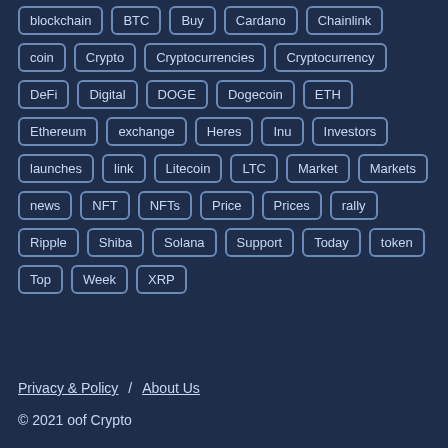blockchain
BTC
Buy
Cardano
Chainlink
coin
Crypto
Cryptocurrencies
Cryptocurrency
DeFi
Digital
DOGE
Dogecoin
ETH
Ethereum
exchange
Heres
Inu
Investors
launches
link
Litecoin
LTC
Market
Markets
news
NFT
NFTs
Price
Prices
rally
Ripple
Shiba
Solana
Support
Today
token
Top
Week
XRP
Privacy & Policy  /  About Us
© 2021 oof Crypto